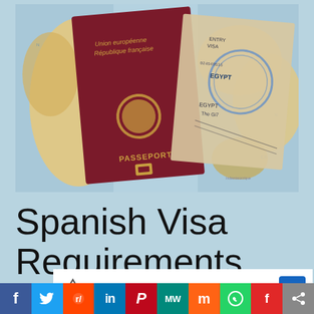[Figure (photo): French passport and Egyptian visa/stamp documents laid on a colorful world map. The passport cover shows 'Union européenne République française' and 'PASSEPORT' text with an emblem. An entry visa document with stamps is visible alongside.]
Spanish Visa Requirements
[Figure (screenshot): A partial UI overlay showing a Topgolf logo, checkmark Dine-in, X Delivery, and a blue navigation arrow button]
[Figure (infographic): Social media sharing bar with buttons: Facebook (f), Twitter bird, Reddit alien, LinkedIn (in), Pinterest (P), MeWe (MW), Mix (m), WhatsApp, Flipboard, and Share icons]